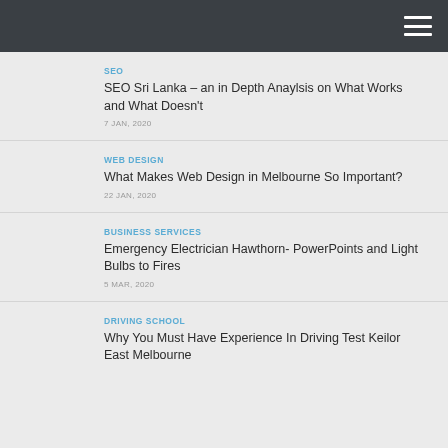SEO
SEO Sri Lanka – an in Depth Anaylsis on What Works and What Doesn't
7 JAN, 2020
WEB DESIGN
What Makes Web Design in Melbourne So Important?
22 JAN, 2020
BUSINESS SERVICES
Emergency Electrician Hawthorn- PowerPoints and Light Bulbs to Fires
5 MAR, 2020
DRIVING SCHOOL
Why You Must Have Experience In Driving Test Keilor East Melbourne